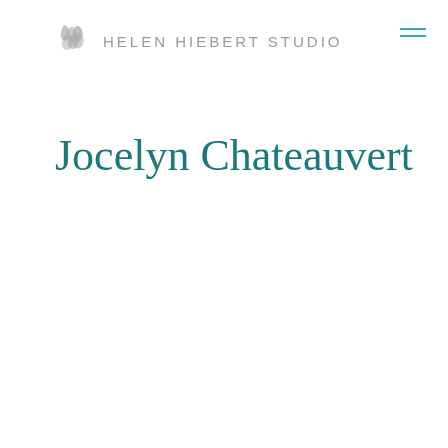HELEN HIEBERT STUDIO
Jocelyn Chateauvert